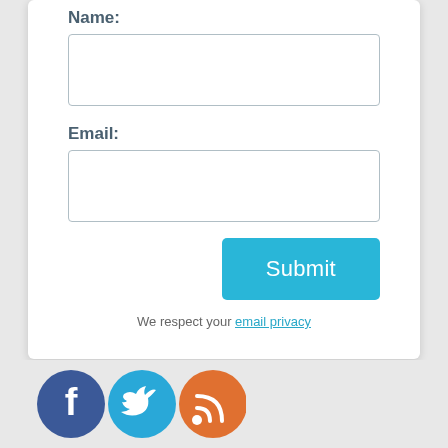Name:
Email:
Submit
We respect your email privacy
[Figure (infographic): Three social media icons: Facebook (dark blue circle with white 'f'), Twitter (light blue circle with white bird), RSS feed (orange circle with white wifi-style signal icon)]